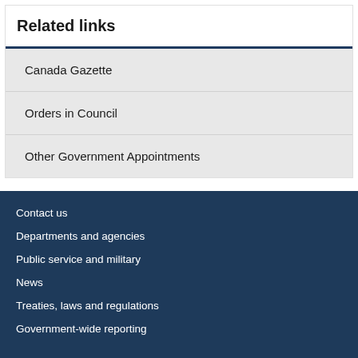Related links
Canada Gazette
Orders in Council
Other Government Appointments
Contact us
Departments and agencies
Public service and military
News
Treaties, laws and regulations
Government-wide reporting